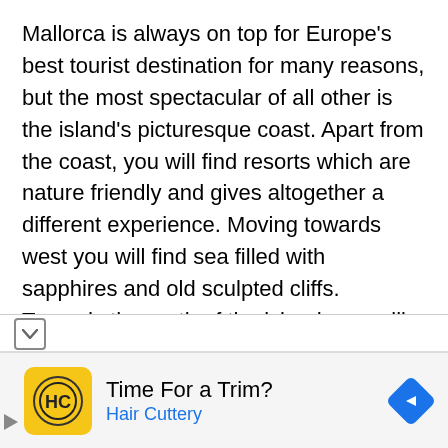Mallorca is always on top for Europe's best tourist destination for many reasons, but the most spectacular of all other is the island's picturesque coast. Apart from the coast, you will find resorts which are nature friendly and gives altogether a different experience. Moving towards west you will find sea filled with sapphires and old sculpted cliffs. Towards the north of the island, you will find pine bays for perfect hiking. Southside is mainly covered with a bone-white beaches which is a treat for the eyes. Resorts are mainly built around the bright blue sea hence giving you a perfect picturesque viewing experience and providing some of the best coastal …nes for your stay. The streets of Mallorca are
[Figure (screenshot): Mobile browser UI showing a dropdown chevron and partial text cutoff, with an advertisement bar at the bottom for Hair Cuttery showing 'Time For a Trim?' with a yellow logo and navigation arrow icon.]